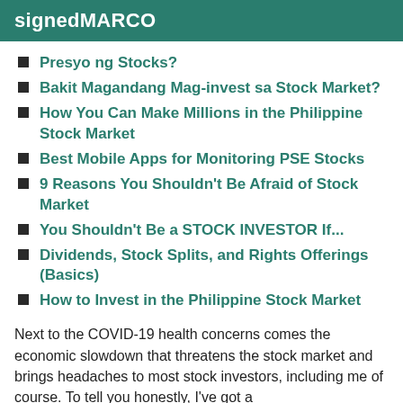signedMARCO
Presyo ng Stocks?
Bakit Magandang Mag-invest sa Stock Market?
How You Can Make Millions in the Philippine Stock Market
Best Mobile Apps for Monitoring PSE Stocks
9 Reasons You Shouldn't Be Afraid of Stock Market
You Shouldn't Be a STOCK INVESTOR If...
Dividends, Stock Splits, and Rights Offerings (Basics)
How to Invest in the Philippine Stock Market
Next to the COVID-19 health concerns comes the economic slowdown that threatens the stock market and brings headaches to most stock investors, including me of course. To tell you honestly, I've got a